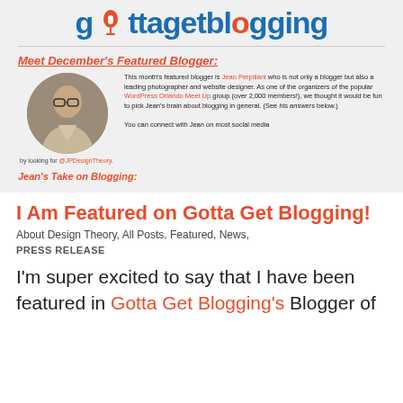[Figure (logo): Gotta Get Blogging logo in blue and orange text]
Meet December's Featured Blogger:
[Figure (photo): Circular profile photo of Jean Perpiliani, a man in a suit]
This month's featured blogger is Jean Perpiliani who is not only a blogger but also a leading photographer and website designer. As one of the organizers of the popular WordPress Orlando Meet Up group (over 2,000 members!), we thought it would be fun to pick Jean's brain about blogging in general. (See his answers below.) You can connect with Jean on most social media
by looking for @JPDesignTheory.
Jean's Take on Blogging:
I Am Featured on Gotta Get Blogging!
About Design Theory, All Posts, Featured, News,
PRESS RELEASE
I'm super excited to say that I have been featured in Gotta Get Blogging's Blogger of the Month for December. To give you a brief